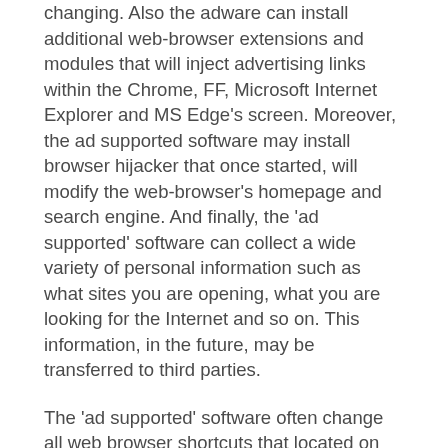changing. Also the adware can install additional web-browser extensions and modules that will inject advertising links within the Chrome, FF, Microsoft Internet Explorer and MS Edge's screen. Moreover, the ad supported software may install browser hijacker that once started, will modify the web-browser's homepage and search engine. And finally, the 'ad supported' software can collect a wide variety of personal information such as what sites you are opening, what you are looking for the Internet and so on. This information, in the future, may be transferred to third parties.
The 'ad supported' software often change all web browser shortcuts that located on your Desktop to force you visit certain annoying ad pages. As a result, your web browser can still reroute you to an unwanted ad page despite your computer